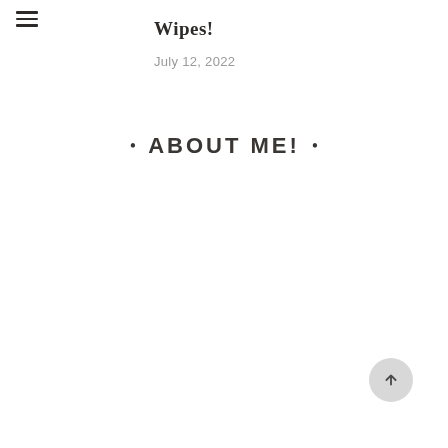[Figure (other): Hamburger menu icon with three horizontal lines in top-left corner]
Wipes!
July 12, 2022
• ABOUT ME! •
[Figure (other): Circular back-to-top button with upward arrow icon in bottom-right corner]